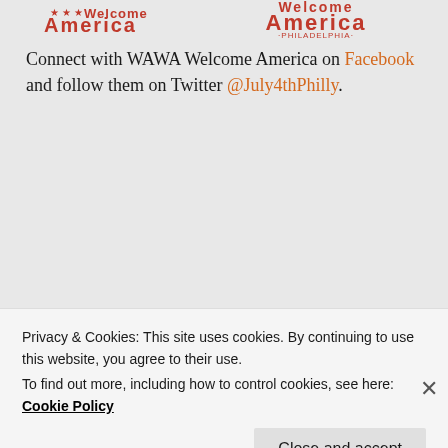[Figure (logo): Welcome America Philadelphia logo with red text and stars]
Connect with WAWA Welcome America on Facebook and follow them on Twitter @July4thPhilly.
Rate this: ☆☆☆☆☆ ℹ
Share this:
Twitter | Facebook | Pinterest | LinkedIn
Privacy & Cookies: This site uses cookies. By continuing to use this website, you agree to their use.
To find out more, including how to control cookies, see here:
Cookie Policy
Close and accept